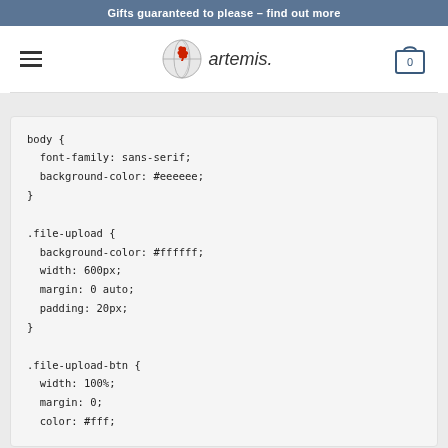Gifts guaranteed to please – find out more
[Figure (logo): Artemis shop logo with globe icon and italic artemis. text]
body {
  font-family: sans-serif;
  background-color: #eeeeee;
}

.file-upload {
  background-color: #ffffff;
  width: 600px;
  margin: 0 auto;
  padding: 20px;
}

.file-upload-btn {
  width: 100%;
  margin: 0;
  color: #fff;